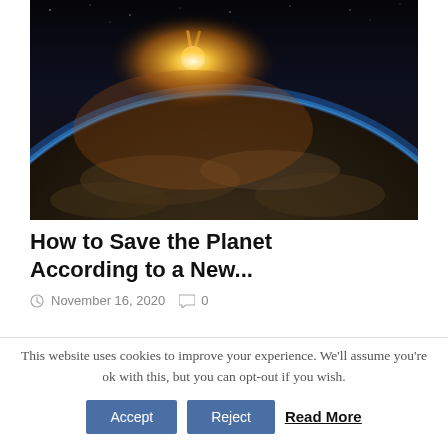[Figure (photo): Aerial/space view of Earth with sun rising over the horizon, glowing orange sunburst against dark space, blue atmospheric rim visible along the curve of the Earth.]
How to Save the Planet According to a New...
November 16, 2020  0
This website uses cookies to improve your experience. We'll assume you're ok with this, but you can opt-out if you wish.
Accept  Reject  Read More